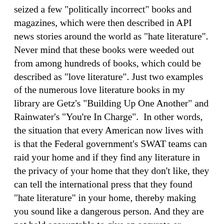seized a few "politically incorrect" books and magazines, which were then described in API news stories around the world as "hate literature". Never mind that these books were weeded out from among hundreds of books, which could be described as "love literature". Just two examples of the numerous love literature books in my library are Getz's "Building Up One Another" and Rainwater's "You're In Charge".  In other words, the situation that every American now lives with is that the Federal government's SWAT teams can raid your home and if they find any literature in the privacy of your home that they don't like, they can tell the international press that they found "hate literature" in your home, thereby making you sound like a dangerous person. And they are not held accountable to give an accurate or balanced view of what was really found. Whether you had even read these books or supported what they contained is not even considered or asked by the establishment media. This power of our government is nothing less than the power that Stalin or Hitler had to demonize